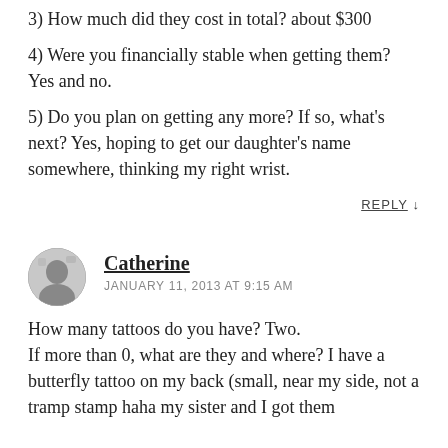3) How much did they cost in total? about $300
4) Were you financially stable when getting them? Yes and no.
5) Do you plan on getting any more? If so, what’s next? Yes, hoping to get our daughter’s name somewhere, thinking my right wrist.
REPLY ↓
Catherine
JANUARY 11, 2013 AT 9:15 AM
How many tattoos do you have? Two.
If more than 0, what are they and where? I have a butterfly tattoo on my back (small, near my side, not a tramp stamp haha my sister and I got them